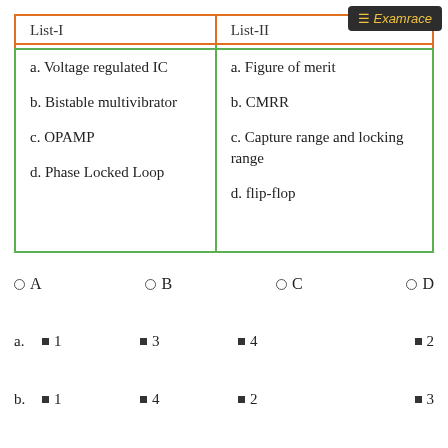≡ Examrace
| List-I | List-II |
| --- | --- |
| a. Voltage regulated IC
b. Bistable multivibrator
c. OPAMP
d. Phase Locked Loop | a. Figure of merit
b. CMRR
c. Capture range and locking range
d. flip-flop |
○ A   ○ B   ○ C   ○ D
a. ■ 1   ■ 3   ■ 4   ■ 2
b. ■ 1   ■ 4   ■ 2   ■ 3